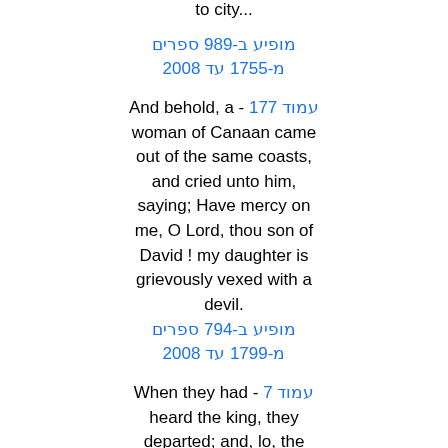to city...
מופיע ב-989 ספרים
מ-1755 עד 2008
And behold, a - עמוד 177
woman of Canaan came out of the same coasts, and cried unto him, saying; Have mercy on me, O Lord, thou son of David ! my daughter is grievously vexed with a devil.
מופיע ב-794 ספרים
מ-1799 עד 2008
When they had - עמוד 7
heard the king, they departed; and, lo, the star, which they saw in the East, went before them, till it came, and stood over, where the